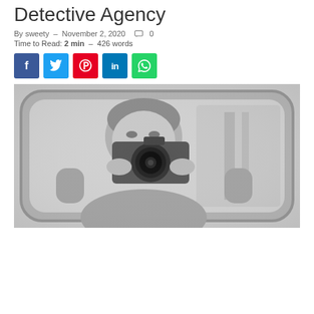Detective Agency
By sweety  –  November 2, 2020   0
Time to Read: 2 min  –  426 words
[Figure (other): Social share buttons: Facebook (blue), Twitter (light blue), Pinterest (red), LinkedIn (dark blue), WhatsApp (green)]
[Figure (photo): Grayscale photo of a man photographing through a car side mirror, holding a camera up to his face, viewed from outside the car. The image is desaturated/light gray toned.]